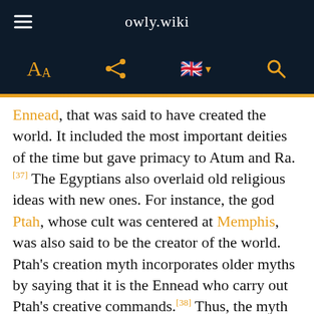owly.wiki
Ennead, that was said to have created the world. It included the most important deities of the time but gave primacy to Atum and Ra. [37] The Egyptians also overlaid old religious ideas with new ones. For instance, the god Ptah, whose cult was centered at Memphis, was also said to be the creator of the world. Ptah's creation myth incorporates older myths by saying that it is the Ennead who carry out Ptah's creative commands.[38] Thus, the myth makes Ptah older and greater than the Ennead. Many scholars have seen this myth as a political attempt to assert the superiority of Memphis' god over those of Heliopolis.[89] By